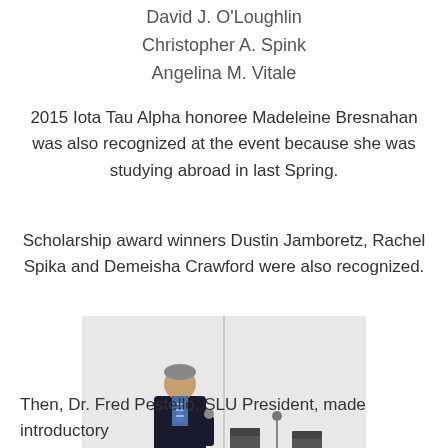David J. O'Loughlin
Christopher A. Spink
Angelina M. Vitale
2015 Iota Tau Alpha honoree Madeleine Bresnahan was also recognized at the event because she was studying abroad in last Spring.
Scholarship award winners Dustin Jamboretz, Rachel Spika and Demeisha Crawford were also recognized.
[Figure (photo): A man in a dark suit and striped tie stands at a podium in front of a Saint Louis University Edward and Margaret Doisy College of Health Sciences banner, with chairs and a microphone visible behind him.]
Then, Dr. Fred Pestello, SLU President, made introductory